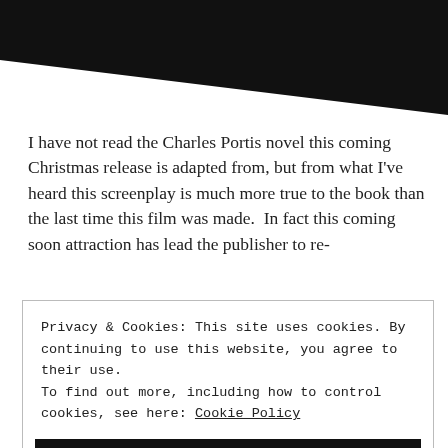[Figure (illustration): Black triangle/wedge shape in the top portion of the page, partially obscuring the top-left corner]
I have not read the Charles Portis novel this coming Christmas release is adapted from, but from what I've heard this screenplay is much more true to the book than the last time this film was made.  In fact this coming soon attraction has lead the publisher to re-
Privacy & Cookies: This site uses cookies. By continuing to use this website, you agree to their use.
To find out more, including how to control cookies, see here: Cookie Policy
CLOSE AND ACCEPT